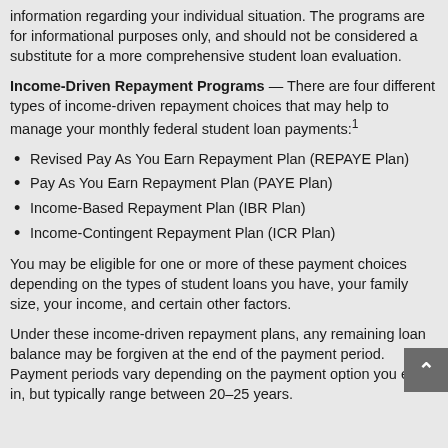information regarding your individual situation. The programs are for informational purposes only, and should not be considered a substitute for a more comprehensive student loan evaluation.
Income-Driven Repayment Programs — There are four different types of income-driven repayment choices that may help to manage your monthly federal student loan payments:¹
Revised Pay As You Earn Repayment Plan (REPAYE Plan)
Pay As You Earn Repayment Plan (PAYE Plan)
Income-Based Repayment Plan (IBR Plan)
Income-Contingent Repayment Plan (ICR Plan)
You may be eligible for one or more of these payment choices depending on the types of student loans you have, your family size, your income, and certain other factors.
Under these income-driven repayment plans, any remaining loan balance may be forgiven at the end of the payment period. Payment periods vary depending on the payment option you enroll in, but typically range between 20–25 years.